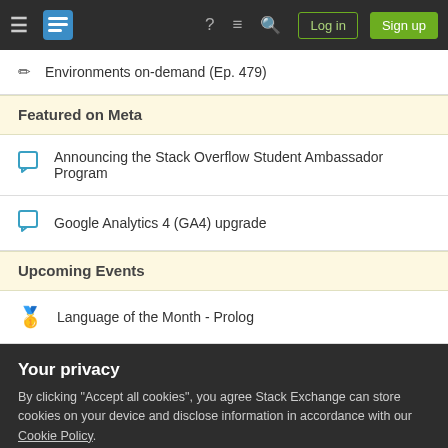Stack Exchange navigation bar with Log in and Sign up buttons
Environments on-demand (Ep. 479)
Featured on Meta
Announcing the Stack Overflow Student Ambassador Program
Google Analytics 4 (GA4) upgrade
Upcoming Events
Language of the Month - Prolog
Your privacy
By clicking "Accept all cookies", you agree Stack Exchange can store cookies on your device and disclose information in accordance with our Cookie Policy.
Accept all cookies   Customize settings
Related